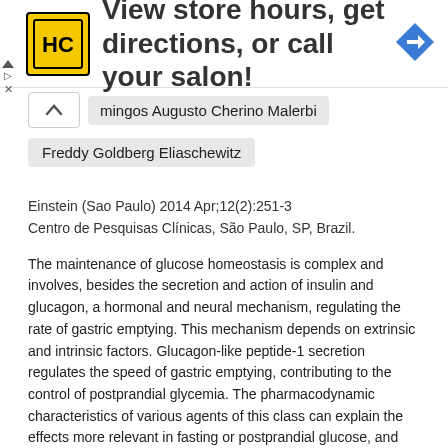[Figure (other): Advertisement banner: HC logo with text 'View store hours, get directions, or call your salon!' and a blue navigation arrow icon on the right]
mingos Augusto Cherino Malerbi
Freddy Goldberg Eliaschewitz
Einstein (Sao Paulo) 2014 Apr;12(2):251-3
Centro de Pesquisas Clínicas, São Paulo, SP, Brazil.
The maintenance of glucose homeostasis is complex and involves, besides the secretion and action of insulin and glucagon, a hormonal and neural mechanism, regulating the rate of gastric emptying. This mechanism depends on extrinsic and intrinsic factors. Glucagon-like peptide-1 secretion regulates the speed of gastric emptying, contributing to the control of postprandial glycemia. The pharmacodynamic characteristics of various agents of this class can explain the effects more relevant in fasting or postprandial glucose, and can thus guide the individualized treatment, according to the clinical and pathophysiological features of each patient.